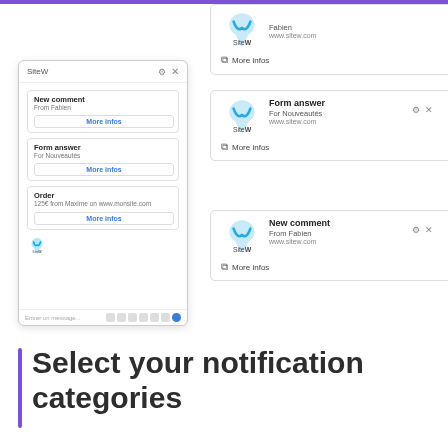[Figure (screenshot): Facebook Messenger-style chat panel showing SiteW notifications: New comment from Fabien, Form answer for Nouveautés, Order 125€ from Maxime on www.monsite.com, with More infos buttons and SiteW logo]
[Figure (screenshot): Browser notification card for SiteW: partially visible at top showing www.sitew.com and More infos link]
[Figure (screenshot): Browser notification card: Form answer - For Nouveautés - www.sitew.com - More infos]
[Figure (screenshot): Browser notification card: New comment - From Fabien - www.sitew.com - More infos]
Select your notification categories